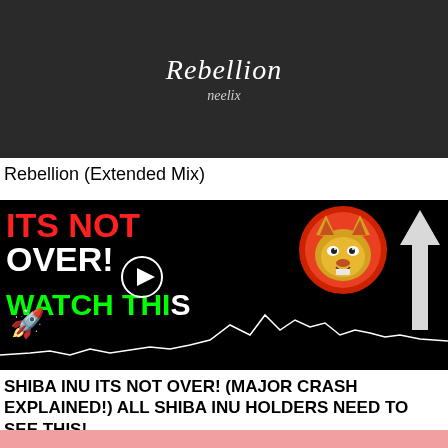[Figure (screenshot): Thumbnail for 'Rebellion' by Neelix — dark background with stylized handwritten text]
Rebellion (Extended Mix)
[Figure (screenshot): YouTube thumbnail: black background with red/white bold text 'ITS NOT OVER!', green text 'WATCH THIS', Shiba Inu dog mascot in red circle, upward white arrow, rocket emoji, white line chart showing crypto price movement. Play button overlay in center.]
SHIBA INU ITS NOT OVER! (MAJOR CRASH EXPLAINED!) ALL SHIBA INU HOLDERS NEED TO SEE THIS!
[Figure (screenshot): Partial thumbnail at bottom, showing pinkish/reddish image, cropped]